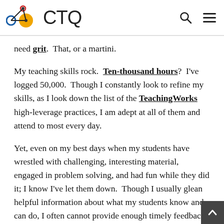CTQ
need grit.  That, or a martini.
My teaching skills rock.  Ten-thousand hours?  I've logged 50,000.  Though I constantly look to refine my skills, as I look down the list of the TeachingWorks high-leverage practices, I am adept at all of them and attend to most every day.
Yet, even on my best days when my students have wrestled with challenging, interesting material, engaged in problem solving, and had fun while they did it; I know I've let them down.  Though I usually glean helpful information about what my students know and can do, I often cannot provide enough timely feedback (to my students or their parents) or formally assess